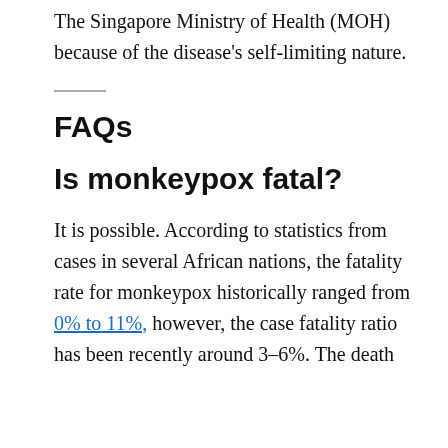The Singapore Ministry of Health (MOH) because of the disease's self-limiting nature.
FAQs
Is monkeypox fatal?
It is possible. According to statistics from cases in several African nations, the fatality rate for monkeypox historically ranged from 0% to 11%, however, the case fatality ratio has been recently around 3–6%. The death